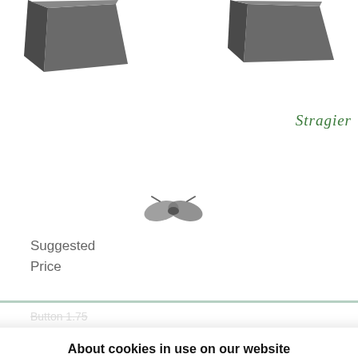[Figure (photo): Two dark grey triangular/angular product boxes at top of page, partially cropped]
[Figure (logo): Stragier brand name in green italic script font]
[Figure (photo): Small grey accessory or product component image]
Suggested
Price
Button 1.75 (strikethrough, partially visible behind modal)
About cookies in use on our website

By clicking on the "Accept" button, you consent to the use of first and third party (or similar) cookies to improve your overall browsing experience on our website, measure our audience and understand how you interact with our site. For more information see our Privacy Policy. You can set your preferences or withdraw your consent at any time by clicking here or on the "Cookie settings" link at the bottom of our website
I accept
Refuse
233 - Noir
100% Polyamide
25 mm